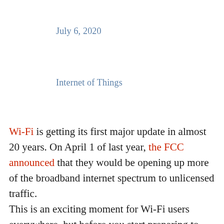July 6, 2020
Internet of Things
Wi-Fi is getting its first major update in almost 20 years. On April 1 of last year, the FCC announced that they would be opening up more of the broadband internet spectrum to unlicensed traffic. This is an exciting moment for Wi-Fi users everywhere, but before you start preparing to change over and fill your office with new Wi-Fi